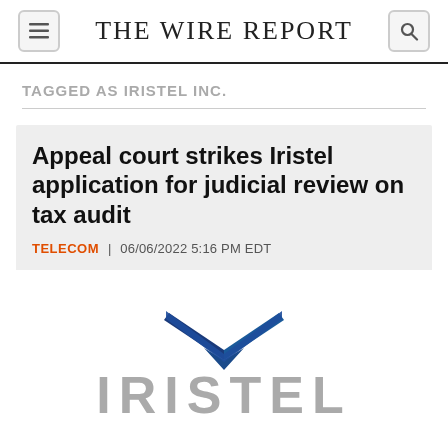THE WIRE REPORT
TAGGED AS IRISTEL INC.
Appeal court strikes Iristel application for judicial review on tax audit
TELECOM | 06/06/2022 5:16 PM EDT
[Figure (logo): Iristel company logo with blue chevron/arrow mark above grey IRISTEL wordmark]